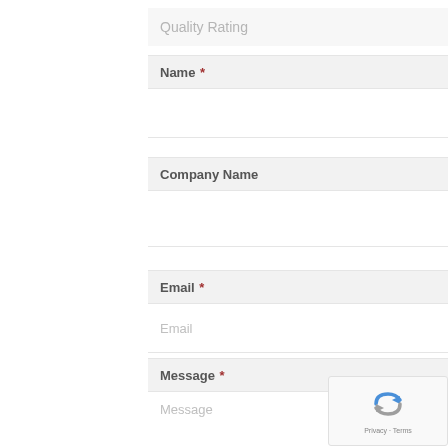Quality Rating
Name *
Company Name
Email *
Message *
[Figure (logo): reCAPTCHA badge with recycling-style arrow icon and Privacy - Terms text]